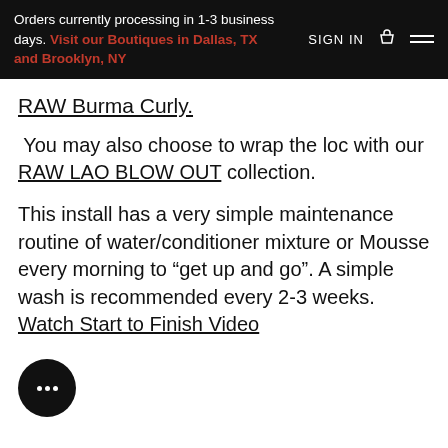Orders currently processing in 1-3 business days. Visit our Boutiques in Dallas, TX and Brooklyn, NY | SIGN IN
RAW Burma Curly.
You may also choose to wrap the loc with our RAW LAO BLOW OUT collection.
This install has a very simple maintenance routine of water/conditioner mixture or Mousse every morning to “get up and go”. A simple wash is recommended every 2-3 weeks. Watch Start to Finish Video
[Figure (other): Chat bubble icon — black circle with three white dots indicating a chat/messaging widget]